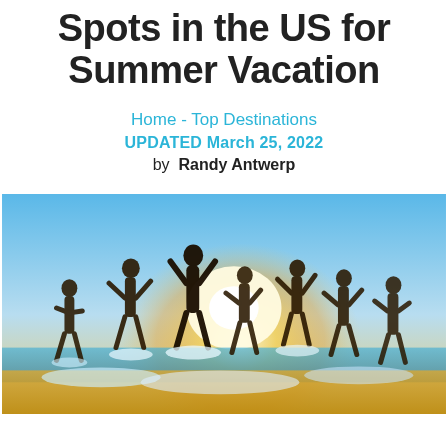Spots in the US for Summer Vacation
Home - Top Destinations
UPDATED March 25, 2022
by Randy Antwerp
[Figure (photo): Group of young people running and jumping on a sunny beach with ocean waves splashing around them, silhouetted against bright sunlight and blue sky.]